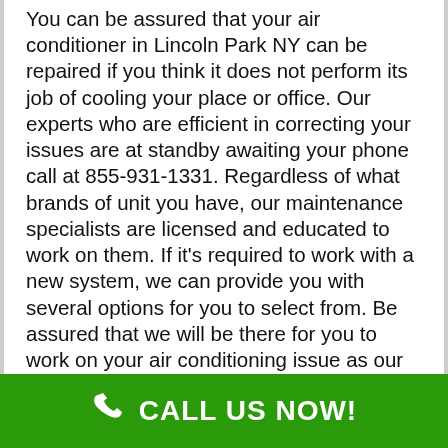You can be assured that your air conditioner in Lincoln Park NY can be repaired if you think it does not perform its job of cooling your place or office. Our experts who are efficient in correcting your issues are at standby awaiting your phone call at 855-931-1331. Regardless of what brands of unit you have, our maintenance specialists are licensed and educated to work on them. If it's required to work with a new system, we can provide you with several options for you to select from. Be assured that we will be there for you to work on your air conditioning issue as our Air Conditioning Pros of Lincoln Park functions around the clock. In the time where you feel there is absolutely no one can possibly support you, we will be sure that we will be there. Why experience in your resting time because of heat? Give us a call today to get your AC fixed so you can sleep soundly tonight.We do our best in taking care of your air conditioners to attain the highest service quality. This is because of the traits such as responsibility, teamwork, honesty and
[Figure (infographic): Green call-to-action bar with phone icon and text 'CALL US NOW!' in white bold letters on green background.]